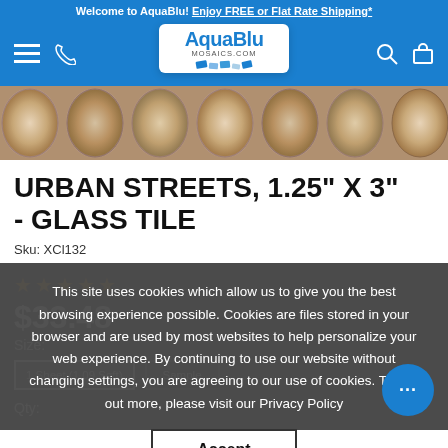Welcome to AquaBlu! Enjoy FREE or Flat Rate Shipping*
[Figure (logo): AquaBlu Mosaics.com logo with mosaic tile graphic, navigation bar with hamburger menu, phone, search, and cart icons on blue background]
[Figure (photo): Close-up product photo of Urban Streets glass tile with stone/pebble texture in beige and brown tones]
URBAN STREETS, 1.25" X 3" - GLASS TILE
Sku: XCl132
★★★★★
$33.48
Size:
1 Sheet (1.09 Sqft)    Sample
Qty:
This site uses cookies which allow us to give you the best browsing experience possible. Cookies are files stored in your browser and are used by most websites to help personalize your web experience. By continuing to use our website without changing settings, you are agreeing to our use of cookies. To find out more, please visit our Privacy Policy
Accept